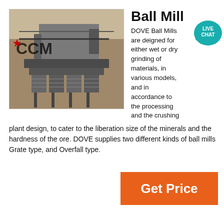[Figure (photo): Aerial/overhead view of a large mining/crushing plant with industrial machinery, labeled CCM with a red star logo]
Ball Mill
DOVE Ball Mills are deiгned for either wet or dry grinding of materials, in various models, and in accordance to the processing and the crushing plant design, to cater to the liberation size of the minerals and the hardness of the ore. DOVE supplies two different kinds of ball mills Grate type, and Overfall type.
[Figure (other): Live Chat badge/bubble overlay]
Get Price